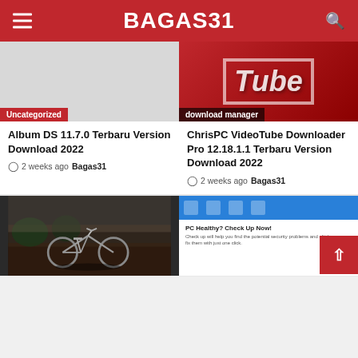BAGAS31
[Figure (screenshot): Gray placeholder image with Uncategorized badge]
[Figure (screenshot): YouTube Tube logo style image on red brick background with download manager badge]
Album DS 11.7.0 Terbaru Version Download 2022
2 weeks ago Bagas31
ChrisPC VideoTube Downloader Pro 12.18.1.1 Terbaru Version Download 2022
2 weeks ago Bagas31
[Figure (photo): Dark photo of bicycle leaning against something outdoors]
[Figure (screenshot): PC health check software screenshot with blue toolbar and white body]